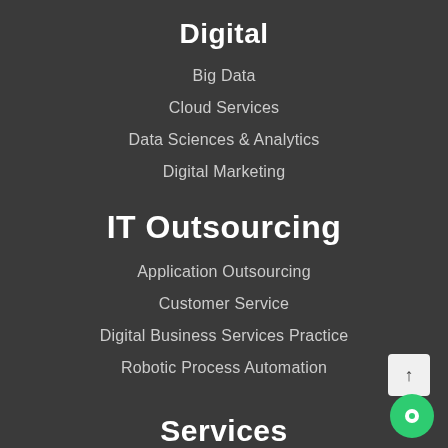Digital
Big Data
Cloud Services
Data Sciences & Analytics
Digital Marketing
IT Outsourcing
Application Outsourcing
Customer Service
Digital Business Services Practice
Robotic Process Automation
Services